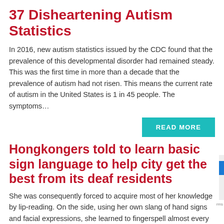37 Disheartening Autism Statistics
In 2016, new autism statistics issued by the CDC found that the prevalence of this developmental disorder had remained steady. This was the first time in more than a decade that the prevalence of autism had not risen. This means the current rate of autism in the United States is 1 in 45 people. The symptoms…
READ MORE
Hongkongers told to learn basic sign language to help city get the best from its deaf residents
She was consequently forced to acquire most of her knowledge by lip-reading. On the side, using her own slang of hand signs and facial expressions, she learned to fingerspell almost every word in the dictionary.